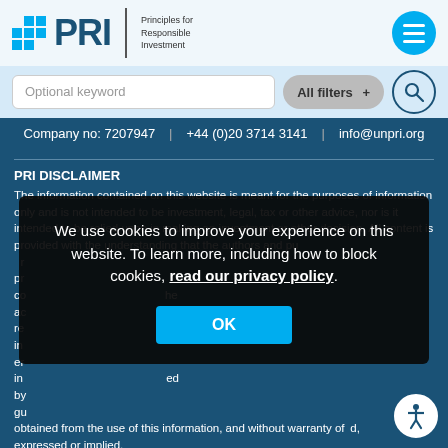[Figure (logo): PRI - Principles for Responsible Investment logo with blue grid icon]
Optional keyword
All filters +
Company no: 7207947 | +44 (0)20 3714 3141 | info@unpri.org
PRI DISCLAIMER
The information contained on this website is meant for the purposes of information only and is not intended to be investment, legal, tax or other advice, nor is it intended to be relied upon in making an investment or other decision. All content is provided with the understanding that the authors and publishers are not providing professional advice...obtained from the use of this information, and without warranty of kind, expressed or implied.
We use cookies to improve your experience on this website. To learn more, including how to block cookies, read our privacy policy.
OK